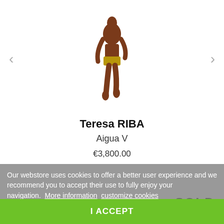[Figure (photo): Photograph of a dark brown sculptural figure (torso and lower body) of a person, appearing to be an artwork titled Agua V by Teresa RIBA]
Teresa RIBA
Agua V
€3,800.00
Our webstore uses cookies to offer a better user experience and we recommend you to accept their use to fully enjoy your navigation.  More information  customize cookies
SOLD
I ACCEPT